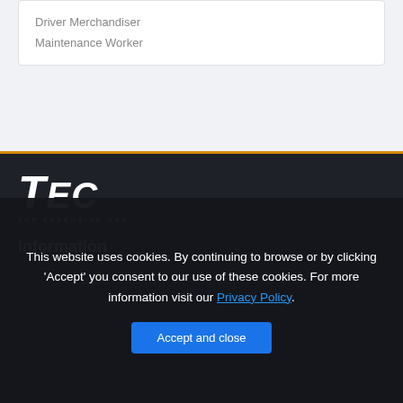Driver Merchandiser
Maintenance Worker
[Figure (logo): TEC - Top Expensive Car logo, white italic bold text on dark background]
Information
This website uses cookies. By continuing to browse or by clicking 'Accept' you consent to our use of these cookies. For more information visit our Privacy Policy.